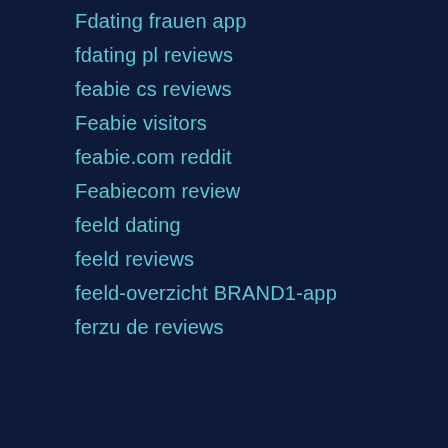Fdating frauen app
fdating pl reviews
feabie cs reviews
Feabie visitors
feabie.com reddit
Feabiecom review
feeld dating
feeld reviews
feeld-overzicht BRAND1-app
ferzu de reviews